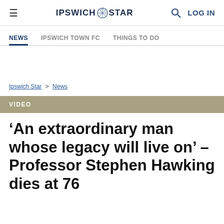IPSWICH STAR | LOG IN
NEWS | IPSWICH TOWN FC | THINGS TO DO
Ipswich Star > News
VIDEO
‘An extraordinary man whose legacy will live on’ – Professor Stephen Hawking dies at 76